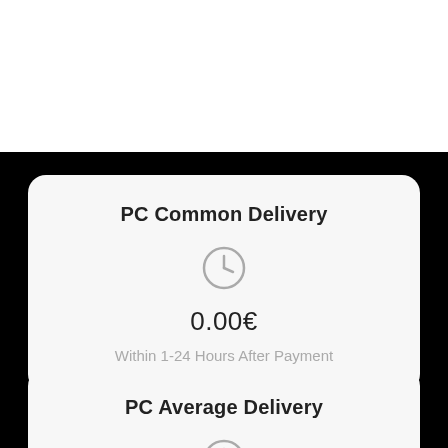PC Common Delivery
0.00€
Within 1-24 Hours After Payment
PC Average Delivery